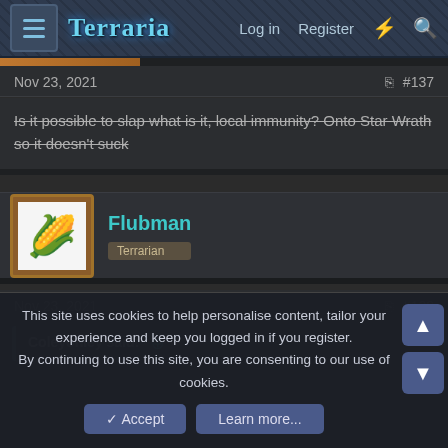Terraria | Log in | Register
Nov 23, 2021   #137
Is it possible to slap what is it, local immunity? Onto Star Wrath so it doesn't suck
Flubman — Terrarian
Nov 23, 2021   #138
Coleyohley said: ⊕
This site uses cookies to help personalise content, tailor your experience and keep you logged in if you register.
By continuing to use this site, you are consenting to our use of cookies.
Accept   Learn more...